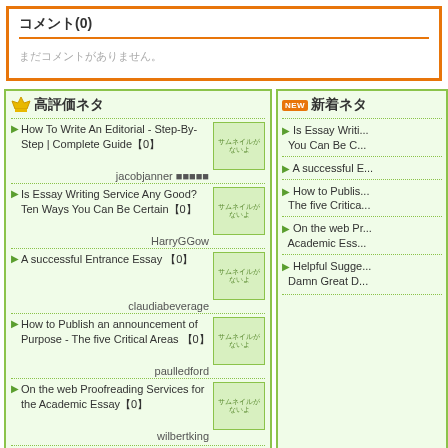コメント(0)
まだコメントがありません。
👑 高評価ネタ
How To Write An Editorial - Step-By-Step | Complete Guideむ0む
jacobjanner む0むむむむ
Is Essay Writing Service Any Good? Ten Ways You Can Be Certainむ0む
HarryGGow
A successful Entrance Essay む0む
claudiabeverage
How to Publish an announcement of Purpose - The five Critical Areas む0む
paulledford
On the web Proofreading Services for the Academic Essayむ0む
wilbertking
NEW 新着ネタ
Is Essay Writi... You Can Be C...
A successful E...
How to Publis... The five Critica...
On the web Pr... Academic Ess...
Helpful Sugge... Damn Great D...
もっと見る